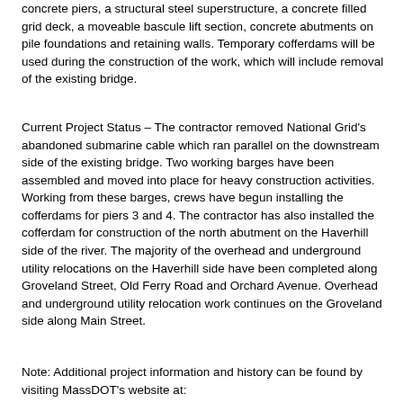concrete piers, a structural steel superstructure, a concrete filled grid deck, a moveable bascule lift section, concrete abutments on pile foundations and retaining walls. Temporary cofferdams will be used during the construction of the work, which will include removal of the existing bridge.
Current Project Status – The contractor removed National Grid's abandoned submarine cable which ran parallel on the downstream side of the existing bridge. Two working barges have been assembled and moved into place for heavy construction activities. Working from these barges, crews have begun installing the cofferdams for piers 3 and 4. The contractor has also installed the cofferdam for construction of the north abutment on the Haverhill side of the river. The majority of the overhead and underground utility relocations on the Haverhill side have been completed along Groveland Street, Old Ferry Road and Orchard Avenue. Overhead and underground utility relocation work continues on the Groveland side along Main Street.
Note: Additional project information and history can be found by visiting MassDOT's website at: